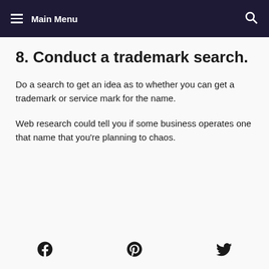Main Menu
8. Conduct a trademark search.
Do a search to get an idea as to whether you can get a trademark or service mark for the name.
Web research could tell you if some business operates one that name that you're planning to chaos.
Social share icons: Facebook, Pinterest, Twitter